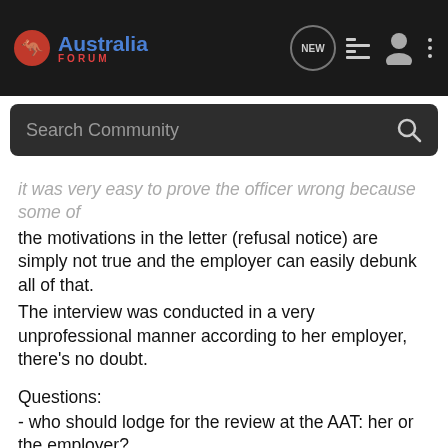Australia Forum
it is very easy to prove the officer wrong because some of the motivations in the letter (refusal notice) are simply not true and the employer can easily debunk all of that. The interview was conducted in a very unprofessional manner according to her employer, there's no doubt.
Questions:
- who should lodge for the review at the AAT: her or the employer?
(they are in a very good relation, and she really work as a manager, it's not a huge cafe and the employer is a bit of control freak so for example she's the one who like to do the rosters!).
- is any complain regarding the professionalism of the Immigration officer worth any time and help for her application?